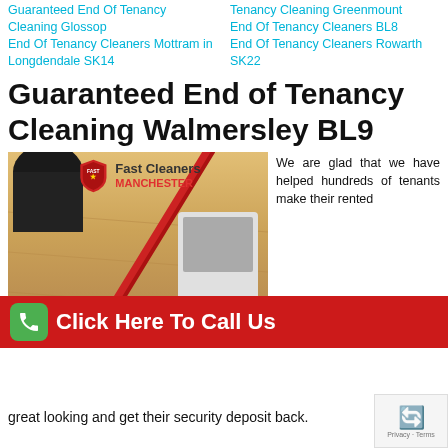Guaranteed End Of Tenancy Cleaning Glossop
End Of Tenancy Cleaners Mottram in Longdendale SK14
Tenancy Cleaning Greenmount
End Of Tenancy Cleaners BL8
End Of Tenancy Cleaners Rowarth SK22
Guaranteed End of Tenancy Cleaning Walmersley BL9
[Figure (photo): Photo of a mop on a wooden floor surface with a Fast Cleaners Manchester logo overlay, and a red 'Click Here To Call Us' CTA bar at the bottom]
We are glad that we have helped hundreds of tenants make their rented
great looking and get their security deposit back.